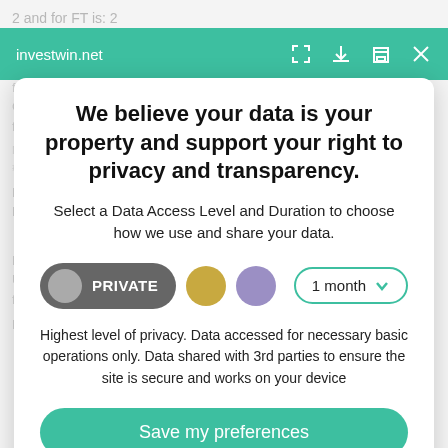investwin.net
We believe your data is your property and support your right to privacy and transparency.
Select a Data Access Level and Duration to choose how we use and share your data.
PRIVATE — 1 month
Highest level of privacy. Data accessed for necessary basic operations only. Data shared with 3rd parties to ensure the site is secure and works on your device
Save my preferences
Customize   Privacy policy